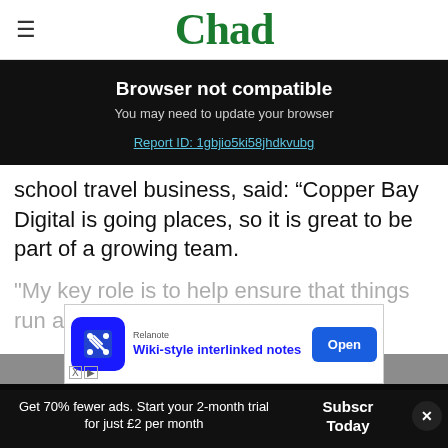Chad
Browser not compatible
You may need to update your browser
Report ID: 1gbjio5ki58jhdkvubg
school travel business, said: “Copper Bay Digital is going places, so it is great to be part of a growing team.
"My key role is to help ensure that things run as smoo
[Figure (screenshot): Advertisement banner for Relanote showing 'Wiki-style interlinked notes' with an Open button]
Get 70% fewer ads. Start your 2-month trial for just £2 per month
Subscribe Today